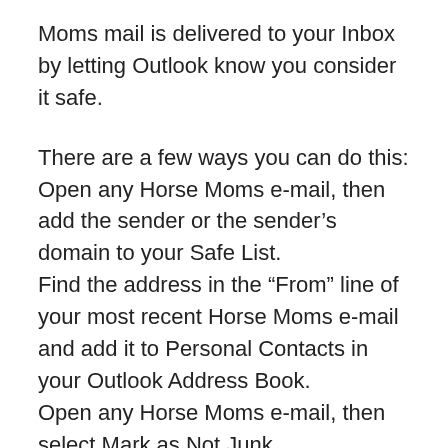Moms mail is delivered to your Inbox by letting Outlook know you consider it safe.
There are a few ways you can do this: Open any Horse Moms e-mail, then add the sender or the sender's domain to your Safe List. Find the address in the “From” line of your most recent Horse Moms e-mail and add it to Personal Contacts in your Outlook Address Book. Open any Horse Moms e-mail, then select Mark as Not Junk.